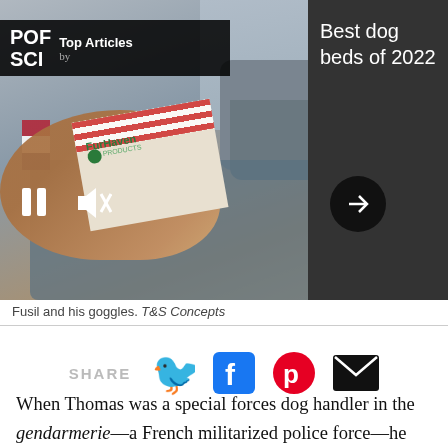[Figure (screenshot): PopSci Top Articles overlay on a video/image showing dog with FurHaven and BARK boxes. Video controls visible. Right side shows dark panel with 'Best dog beds of 2022'.]
Fusil and his goggles. T&S Concepts
[Figure (infographic): Social share bar with Twitter, Facebook, Pinterest, and Email icons with SHARE label]
When Thomas was a special forces dog handler in the gendarmerie—a French militarized police force—he found it worrisome when he lost sight of his canine, Fusil. The pooch was trained to follow a laser beam that allows the handler to point to objects or places the forces go to, and to assist with special operations.